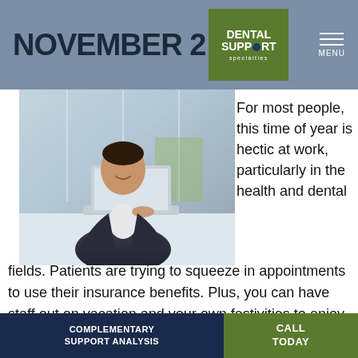NOVEMBER 2 — Dental Support Specialties — MENU
[Figure (photo): A smiling businessman in a dark suit jacket seated at a desk using a laptop in a modern glass office building]
For most people, this time of year is hectic at work, particularly in the health and dental
fields. Patients are trying to squeeze in appointments to use their insurance benefits. Plus, you can have staff out on vacation and your own festivities to enjoy.
COMPLEMENTARY SUPPORT ANALYSIS    CALL TODAY